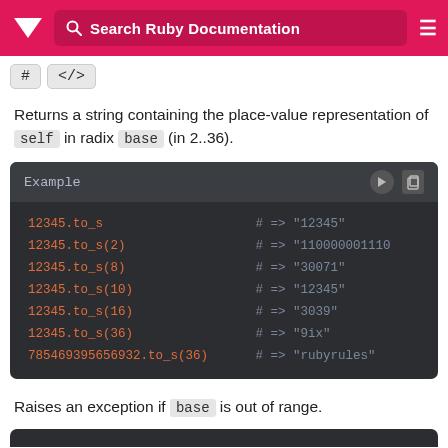Search Ruby Documentation
# </>
Returns a string containing the place-value representation of self in radix base (in 2..36).
[Figure (screenshot): Code block showing Ruby example of 12345.to_s with various radix bases (2, 8, 10, 16, 36) and 785469365932.to_s(36) with their string results]
Raises an exception if base is out of range.